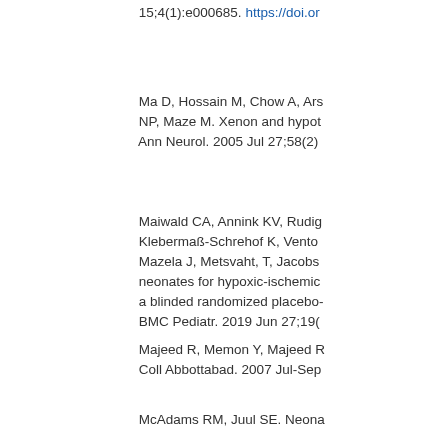15;4(1):e000685. https://doi.or...
Ma D, Hossain M, Chow A, Ars... NP, Maze M. Xenon and hypot... Ann Neurol. 2005 Jul 27;58(2)...
Maiwald CA, Annink KV, Rudig... Klebermaß-Schrehof K, Vento... Mazela J, Metsvaht, T, Jacobs... neonates for hypoxic-ischemic... a blinded randomized placebo-... BMC Pediatr. 2019 Jun 27;19(...
Majeed R, Memon Y, Majeed R... Coll Abbottabad. 2007 Jul-Sep...
Markus T, Hansson S, Amer-W... inflammatory response after fe... Res. 2007 Jul;62(1):71-7. https://...
McAdams RM, Juul SE. Neona...